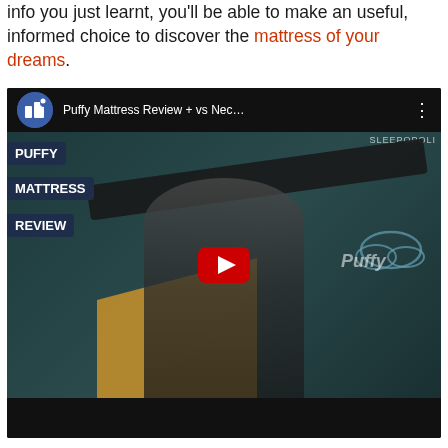info you just learnt, you'll be able to make an useful, informed choice to discover the mattress of your dreams.
[Figure (screenshot): YouTube video thumbnail/embed showing 'Puffy Mattress Review + vs Nec...' from SLEEPOPOLI channel, with a man holding a mattress, overlaid text labels PUFFY, MATTRESS, REVIEW, and a YouTube play button in the center.]